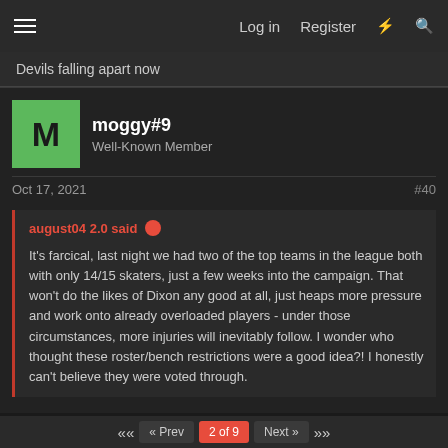≡  Log in  Register  ⚡  🔍
Devils falling apart now
moggy#9
Well-Known Member
Oct 17, 2021  #40
august04 2.0 said: ● 
It's farcical, last night we had two of the top teams in the league both with only 14/15 skaters, just a few weeks into the campaign. That won't do the likes of Dixon any good at all, just heaps more pressure and work onto already overloaded players - under those circumstances, more injuries will inevitably follow. I wonder who thought these roster/bench restrictions were a good idea?! I honestly can't believe they were voted through.
I'm guessing fife, possibly supported by the Scottish bloc.
« Prev  1 Prev  2 of 9  Next»  »